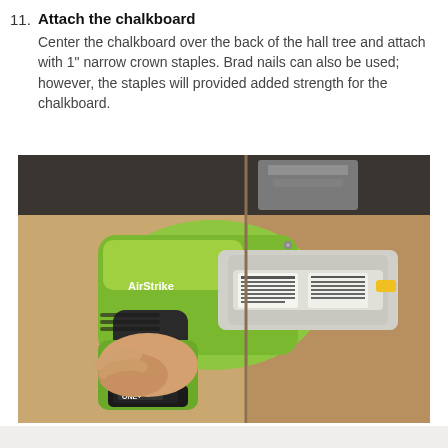11. Attach the chalkboard
Center the chalkboard over the back of the hall tree and attach with 1" narrow crown staples. Brad nails can also be used; however, the staples will provided added strength for the chalkboard.
[Figure (photo): Photo of a person holding a Ryobi AirStrike cordless nail gun/staple gun (lime green and black) against a brown chalkboard surface. The tool is being used to attach the chalkboard.]